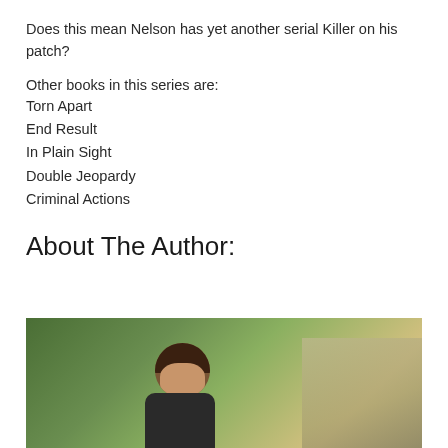Does this mean Nelson has yet another serial Killer on his patch?
Other books in this series are:
Torn Apart
End Result
In Plain Sight
Double Jeopardy
Criminal Actions
About The Author:
[Figure (photo): Outdoor photo of a person with dark hair, smiling, standing in front of green hedges/bushes with a path or road visible in the background.]